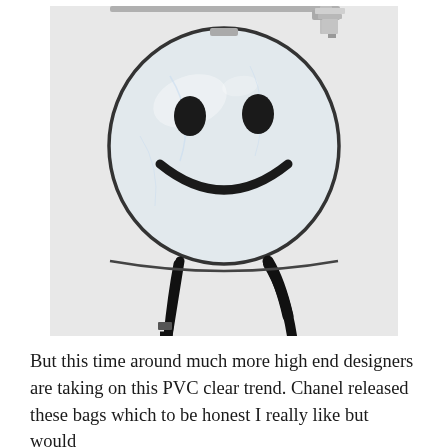[Figure (photo): A clear transparent PVC circular backpack with a smiley face design (black oval eyes and a curved black smile), hanging by black straps on a metal rack against a light grey/white background.]
But this time around much more high end designers are taking on this PVC clear trend. Chanel released these bags which to be honest I really like but would